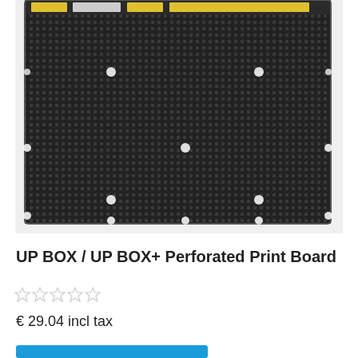[Figure (photo): A dark perforated print board for UP BOX / UP BOX+ 3D printer, shown from above. The board is black/dark grey with a dotted texture surface and multiple circular holes arranged across it. There is a warning label visible at the top edge.]
UP BOX / UP BOX+ Perforated Print Board
☆☆☆☆☆
€ 29.04 incl tax